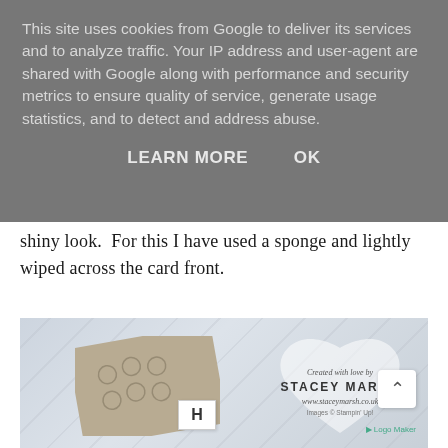This site uses cookies from Google to deliver its services and to analyze traffic. Your IP address and user-agent are shared with Google along with performance and security metrics to ensure quality of service, generate usage statistics, and to detect and address abuse.
LEARN MORE    OK
shiny look.  For this I have used a sponge and lightly wiped across the card front.
[Figure (photo): Photo of a tan embossed card with leaf/citrus patterns on a light blue-grey background. A white label with 'H' is visible. A heart-shaped watermark shows 'Created with love by STACEY MARSH www.staceymarsh.co.uk Images © Stampin' Up!' in the upper right. A scroll-up arrow button and 'Logo Maker' text appear in the lower right.]